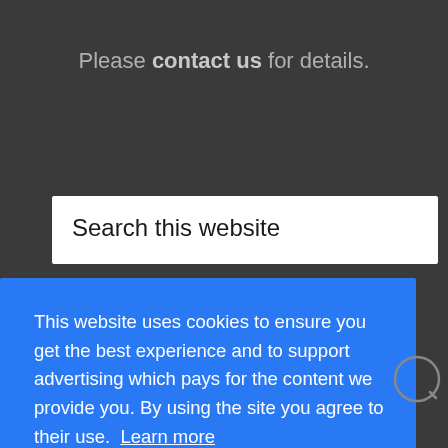Please contact us for details.
Search this website
This website uses cookies to ensure you get the best experience and to support advertising which pays for the content we provide you. By using the site you agree to their use. Learn more
Got it!